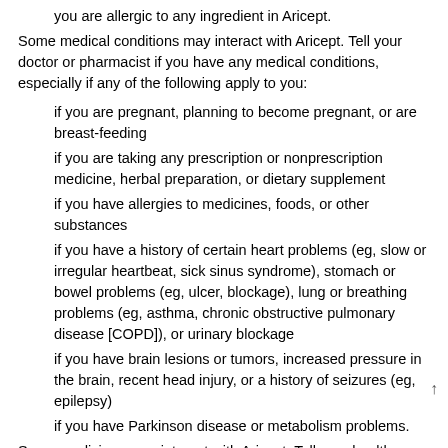you are allergic to any ingredient in Aricept.
Some medical conditions may interact with Aricept. Tell your doctor or pharmacist if you have any medical conditions, especially if any of the following apply to you:
if you are pregnant, planning to become pregnant, or are breast-feeding
if you are taking any prescription or nonprescription medicine, herbal preparation, or dietary supplement
if you have allergies to medicines, foods, or other substances
if you have a history of certain heart problems (eg, slow or irregular heartbeat, sick sinus syndrome), stomach or bowel problems (eg, ulcer, blockage), lung or breathing problems (eg, asthma, chronic obstructive pulmonary disease [COPD]), or urinary blockage
if you have brain lesions or tumors, increased pressure in the brain, recent head injury, or a history of seizures (eg, epilepsy)
if you have Parkinson disease or metabolism problems.
Some medicines may interact with Aricept. Tell your health care provider if you are taking any other medicines, especially any of the following:
Nonsteroidal anti-inflammatory drugs (NSAIDs) (eg, ibuprofen) because the risk of stomach or bowel bleeding may be increased
Cholinergic agents (eg, bethanechol), cholinesterase inhibitors (eg, galantamine), or ketoconazole because they may increase the risk of Aricept's side effects
Carbamazepine, dexamethasone, phenobarbital, phenytoin, or rifampin